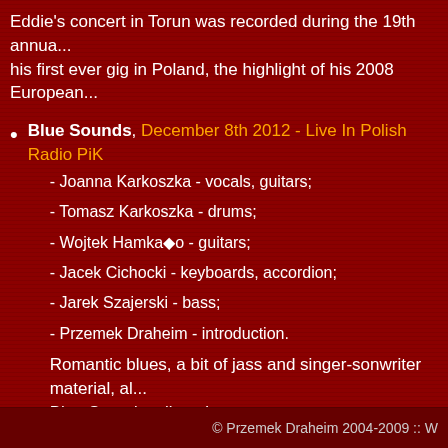Eddie's concert in Torun was recorded during the 19th annua... his first ever gig in Poland, the highlight of his 2008 European...
Blue Sounds, December 8th 2012 - Live In Polish Radio PiK
- Joanna Karkoszka - vocals, guitars;
- Tomasz Karkoszka - drums;
- Wojtek Hamka�o - guitars;
- Jacek Cichocki - keyboards, accordion;
- Jarek Szajerski - bass;
- Przemek Draheim - introduction.
Romantic blues, a bit of jass and singer-sonwriter material, al... Blue Sounds a listen!
© Przemek Draheim 2004-2009 :: W